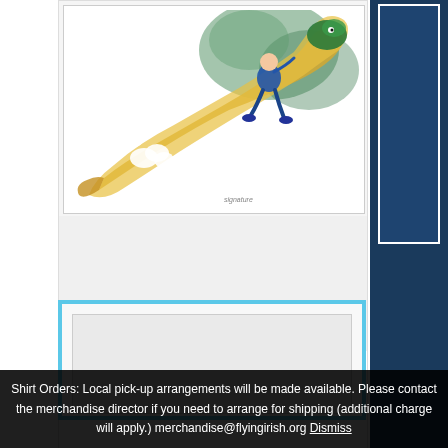[Figure (illustration): Cartoon illustration of a person riding a large green dragon or serpent creature, with yellow swirling tail, white cloud puffs, and green background foliage. Colorful whimsical artwork.]
Shirt Orders: Local pick-up arrangements will be made available. Please contact the merchandise director if you need to arrange for shipping (additional charge will apply.) merchandise@flyingirish.org Dismiss